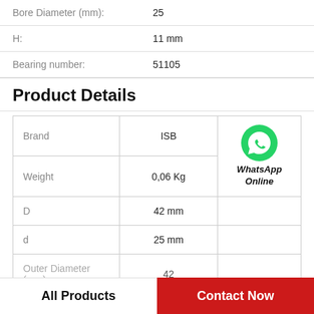| Property | Value |
| --- | --- |
| Bore Diameter (mm): | 25 |
| H: | 11 mm |
| Bearing number: | 51105 |
Product Details
| Brand | ISB | WhatsApp Online |
| --- | --- | --- |
| Brand | ISB | WhatsApp Online |
| Weight | 0,06 Kg |  |
| D | 42 mm |  |
| d | 25 mm |  |
| Outer Diameter (mm) | 42 |  |
All Products
Contact Now